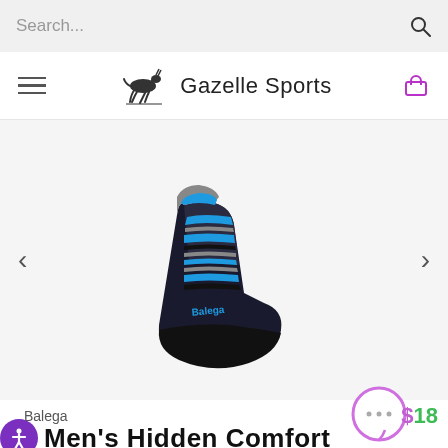Search...
[Figure (logo): Gazelle Sports logo with running gazelle silhouette and text 'Gazelle Sports']
[Figure (photo): Balega men's hidden comfort heather edition low-cut sock in black and blue stripe pattern, shown from the side]
Balega
Men's Hidden Comfort Heather Edition Socks